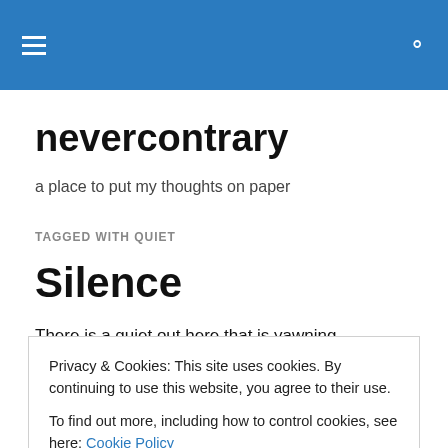nevercontrary — site header with hamburger menu and search icon
nevercontrary
a place to put my thoughts on paper
TAGGED WITH QUIET
Silence
There is a quiet out here that is yawning...
Privacy & Cookies: This site uses cookies. By continuing to use this website, you agree to their use.
To find out more, including how to control cookies, see here: Cookie Policy
Perhaps